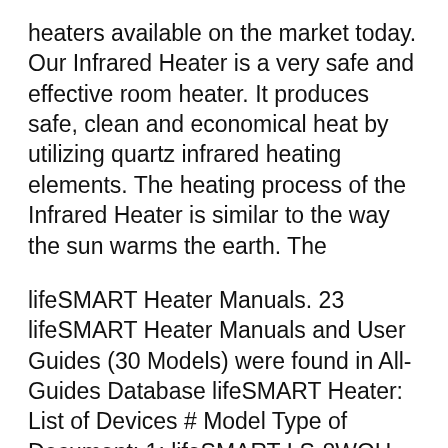heaters available on the market today. Our Infrared Heater is a very safe and effective room heater. It produces safe, clean and economical heat by utilizing quartz infrared heating elements. The heating process of the Infrared Heater is similar to the way the sun warms the earth. The
lifeSMART Heater Manuals. 23 lifeSMART Heater Manuals and User Guides (30 Models) were found in All-Guides Database lifeSMART Heater: List of Devices # Model Type of Document; 1: lifeSMART LS-8WQH-DLX13B: lifeSMART Heater LS-8WQH-DLX13B Operation & userвЧ™s manual (15 pages) 2: lifeSMART INFRARED HEATER: lifeSMART